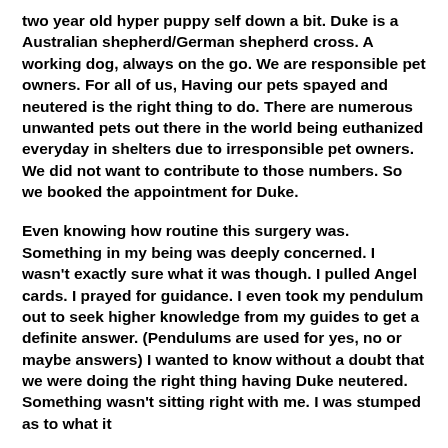two year old hyper puppy self down a bit. Duke is a Australian shepherd/German shepherd cross. A working dog, always on the go. We are responsible pet owners. For all of us, Having our pets spayed and neutered is the right thing to do. There are numerous unwanted pets out there in the world being euthanized everyday in shelters due to irresponsible pet owners. We did not want to contribute to those numbers. So we booked the appointment for Duke.
Even knowing how routine this surgery was. Something in my being was deeply concerned. I wasn't exactly sure what it was though. I pulled Angel cards. I prayed for guidance. I even took my pendulum out to seek higher knowledge from my guides to get a definite answer. (Pendulums are used for yes, no or maybe answers) I wanted to know without a doubt that we were doing the right thing having Duke neutered. Something wasn't sitting right with me. I was stumped as to what it